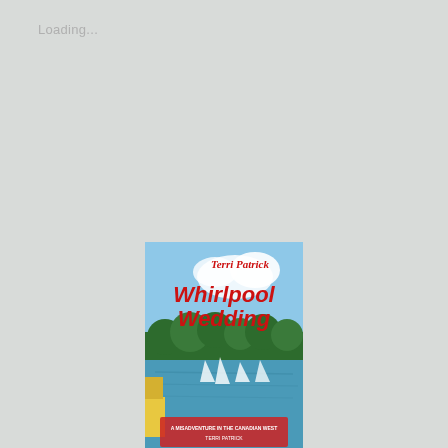Loading...
[Figure (illustration): Book cover for 'Whirlpool Wedding' by Terri Patrick. The cover shows a water/lake scene with trees. Title 'Whirlpool Wedding' in bold red/yellow text and author name 'Terri Patrick' at the top in red italic text.]
Available at Amazon